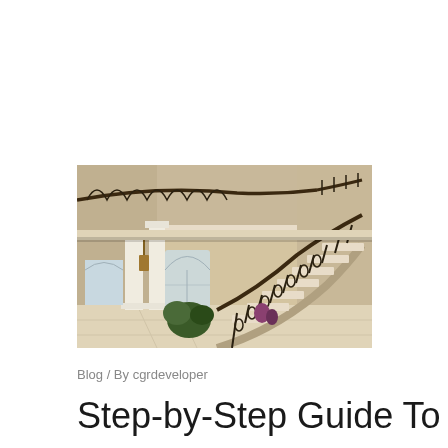[Figure (photo): Interior photo of a grand curved staircase with ornate wrought-iron balustrades and railings, white columns, arched windows, and a two-story foyer with warm beige walls and marble flooring.]
Blog / By cgrdeveloper
Step-by-Step Guide To